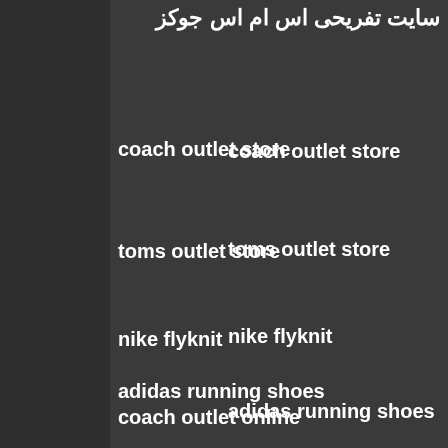سایت تفریحی اس ام اس جوکز
coach outlet store
toms outlet store
nike flyknit
adidas running shoes
coach outlet online